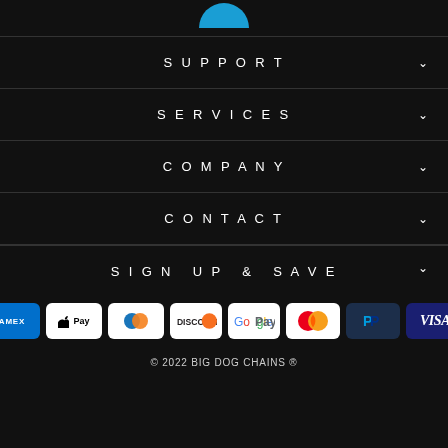[Figure (logo): Partial logo icon at top (blue circular icon, partially visible)]
SUPPORT
SERVICES
COMPANY
CONTACT
SIGN UP & SAVE
[Figure (infographic): Row of payment method badges: AMEX, Apple Pay, Diners Club, Discover, Google Pay, Mastercard, PayPal, Visa]
© 2022 BIG DOG CHAINS ®